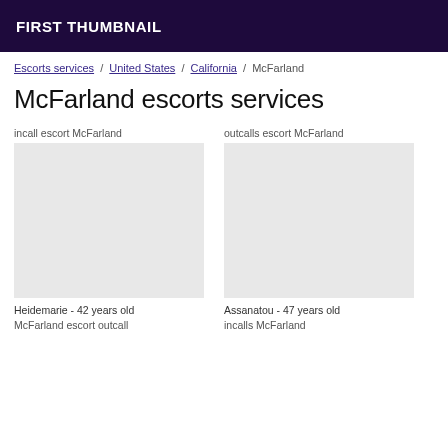FIRST THUMBNAIL
Escorts services / United States / California / McFarland
McFarland escorts services
incall escort McFarland
outcalls escort McFarland
Heidemarie - 42 years old
Assanatou - 47 years old
McFarland escort outcall
incalls McFarland